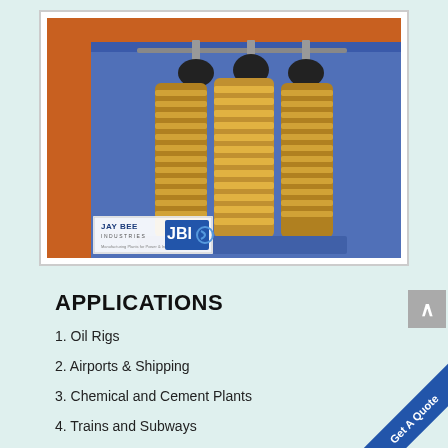[Figure (photo): Industrial transformer or reactor unit with three large cylindrical coil assemblies in golden-yellow color, mounted inside a blue steel frame structure with an orange side panel. Jay Bee Industries logo visible at bottom left of photo.]
APPLICATIONS
1. Oil Rigs
2. Airports & Shipping
3. Chemical and Cement Plants
4. Trains and Subways